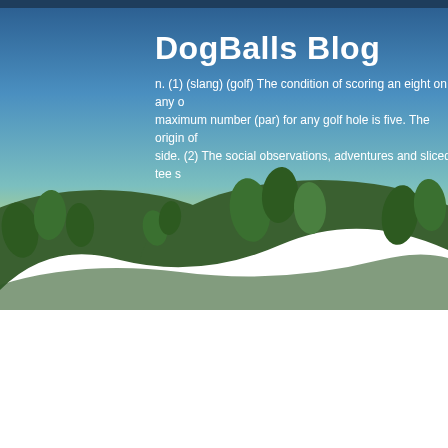[Figure (illustration): DogBalls Blog header banner with sky gradient, rolling green hills, and stylized green leaf trees. Dark blue top bar at top.]
DogBalls Blog
n. (1) (slang) (golf) The condition of scoring an eight on any o... maximum number (par) for any golf hole is five. The origin of ... side. (2) The social observations, adventures and sliced tee s...
November 29, 2006
The Lost Seinfeld Episode
Hat tip to Howard Lindzon for bringing this clip to my attention. I'm shocked we haven't heard more from from the real Cosmo Kramer over the character assasination and loss of income to his NYC tour after Michael Richards' embarassing melt-down at the Comedy Store.
Some great editing from the team at National Lampoon ... enjoy and don't forget to tip your waitress, he'll be here all week.